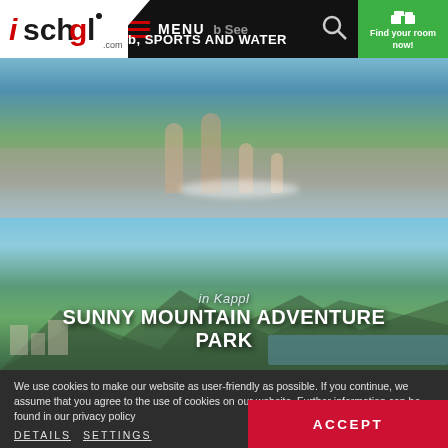ischgl.com | MENU | Find your room now!
[Figure (photo): People playing in water splash area, outdoor summer activity]
[Figure (photo): Family hiking near a mountain lake in Kappl, with mountains in background. Text overlay: 'in Kappl - SUNNY MOUNTAIN ADVENTURE PARK']
We use cookies to make our website as user-friendly as possible. If you continue, we assume that you agree to the use of cookies on our website. Further information can be found in our privacy policy
DETAILS  SETTINGS
ACCEPT